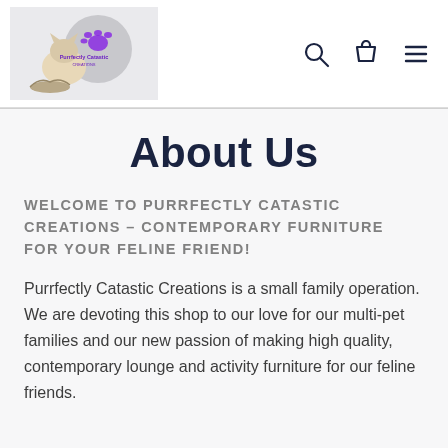[Figure (logo): Purrfectly Catastic Creations logo with illustrated cat and purple paw print]
[Figure (illustration): Navigation icons: search magnifying glass, shopping bag, and hamburger menu]
About Us
WELCOME TO PURRFECTLY CATASTIC CREATIONS – CONTEMPORARY FURNITURE FOR YOUR FELINE FRIEND!
Purrfectly Catastic Creations is a small family operation. We are devoting this shop to our love for our multi-pet families and our new passion of making high quality, contemporary lounge and activity furniture for our feline friends.